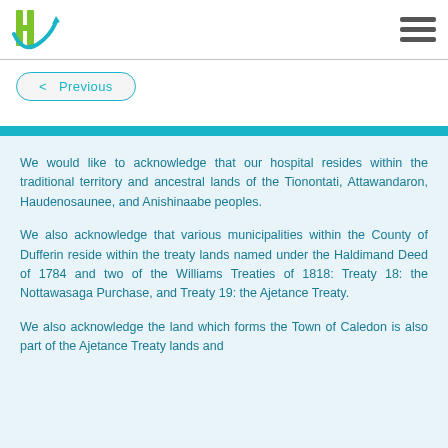Headwaters Health Care Centre
< Previous
We would like to acknowledge that our hospital resides within the traditional territory and ancestral lands of the Tionontati, Attawandaron, Haudenosaunee, and Anishinaabe peoples.
We also acknowledge that various municipalities within the County of Dufferin reside within the treaty lands named under the Haldimand Deed of 1784 and two of the Williams Treaties of 1818: Treaty 18: the Nottawasaga Purchase, and Treaty 19: the Ajetance Treaty.
We also acknowledge the land which forms the Town of Caledon is also part of the Ajetance Treaty lands and